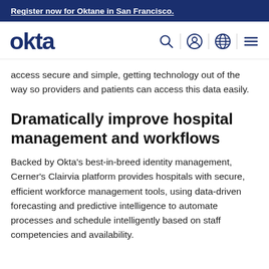Register now for Oktane in San Francisco.
[Figure (logo): Okta logo with navigation icons: search, user profile, globe, and hamburger menu]
access secure and simple, getting technology out of the way so providers and patients can access this data easily.
Dramatically improve hospital management and workflows
Backed by Okta's best-in-breed identity management, Cerner's Clairvia platform provides hospitals with secure, efficient workforce management tools, using data-driven forecasting and predictive intelligence to automate processes and schedule intelligently based on staff competencies and availability.